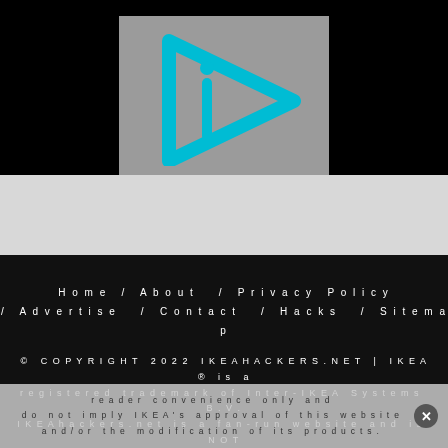[Figure (logo): IKEAhackers logo: cyan/turquoise play-button triangle outline with a lowercase 'i' and dot, on a gray background]
Privacy
Home / About / Privacy Policy / Advertise / Contact / Hacks / Sitemap
© COPYRIGHT 2022 IKEAHACKERS.NET | IKEA® is a registered trademark of Inter-IKEA Systems B.V. IKEAhackers.net is a fan-run website and is NOT related to IKEA®, IKEA.com or the IKEA Group. Any and all links to IKEA.com are presented for reader convenience only and do not imply IKEA's approval of this website and/or the modification of its products.